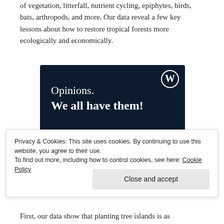of vegetation, litterfall, nutrient cycling, epiphytes, birds, bats, arthropods, and more. Our data reveal a few key lessons about how to restore tropical forests more ecologically and economically.
[Figure (other): WordPress/CrowdSignal advertisement with dark navy background showing 'Opinions. We all have them!' with a pink 'Start a survey' button and WordPress and CrowdSignal logos.]
Privacy & Cookies: This site uses cookies. By continuing to use this website, you agree to their use. To find out more, including how to control cookies, see here: Cookie Policy
First, our data show that planting tree islands is as